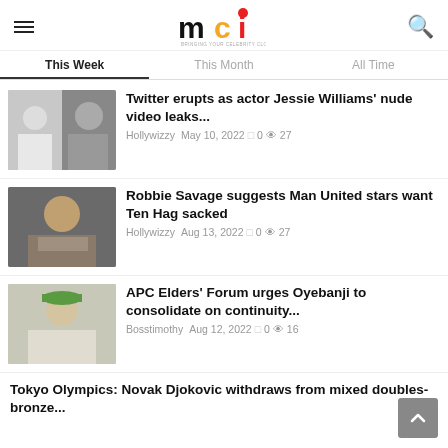mci - BRINGING YOUR CELEBRITY CLOSER TO YOU
This Week | This Month | All Time
[Figure (photo): Two men photo thumbnail for Jessie Williams article]
Twitter erupts as actor Jessie Williams' nude video leaks...
Hollywizzy  May 10, 2022  0  27
[Figure (photo): Robbie Savage photo thumbnail]
Robbie Savage suggests Man United stars want Ten Hag sacked
Hollywizzy  Aug 13, 2022  0  27
[Figure (photo): Man with green hat photo thumbnail - APC Elders article]
APC Elders' Forum urges Oyebanji to consolidate on continuity...
Bosstimothy  Aug 12, 2022  0  16
Tokyo Olympics: Novak Djokovic withdraws from mixed doubles-bronze...